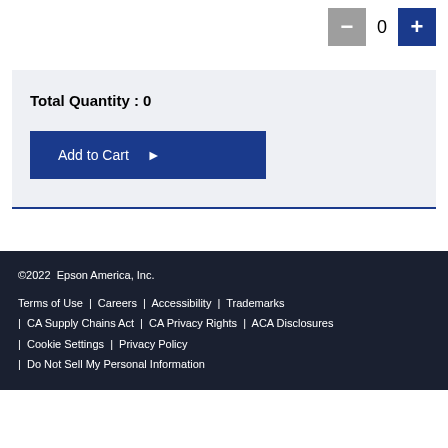- 0 +
Total Quantity : 0
Add to Cart ▶
© 2022  Epson America, Inc.
Terms of Use  |  Careers  |  Accessibility  |  Trademarks  |  CA Supply Chains Act  |  CA Privacy Rights  |  ACA Disclosures  |  Cookie Settings  |  Privacy Policy  |  Do Not Sell My Personal Information